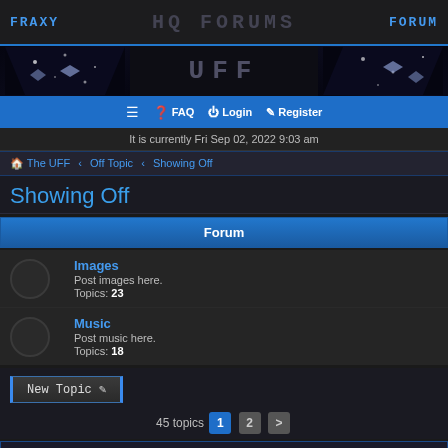FRAXY   HQ FORUMS   FORUM
[Figure (screenshot): Forum banner with space/starfield background and UFF text overlay]
≡  FAQ  Login  Register
It is currently Fri Sep 02, 2022 9:03 am
The UFF ‹ Off Topic ‹ Showing Off
Showing Off
| Forum |
| --- |
| Images | Post images here. | Topics: 23 |
| Music | Post music here. | Topics: 18 |
New Topic ✏
45 topics  1  2  >
Showing Off